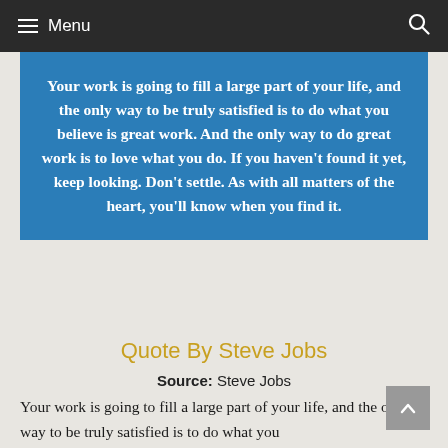Menu
Your work is going to fill a large part of your life, and the only way to be truly satisfied is to do what you believe is great work. And the only way to do great work is to love what you do. If you haven't found it yet, keep looking. Don't settle. As with all matters of the heart, you'll know when you find it.
Quote By Steve Jobs
Source: Steve Jobs
Your work is going to fill a large part of your life, and the only way to be truly satisfied is to do what you